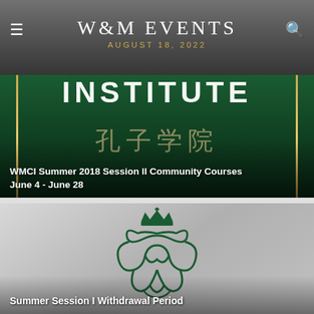W&M EVENTS
AUGUST 18, 2022
[Figure (photo): Dark green banner with Chinese characters and gold vertical stripes, showing the W&M Confucius Institute]
WMCI Summer 2018 Session II Community Courses June 4 - June 28
[Figure (logo): William & Mary royal cypher logo on silver/grey gradient background]
Summer Session I Withdrawal Period